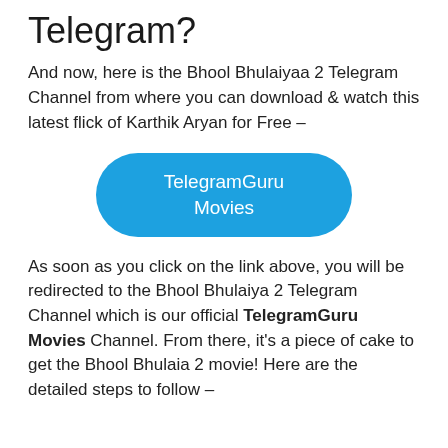Telegram?
And now, here is the Bhool Bhulaiyaa 2 Telegram Channel from where you can download & watch this latest flick of Karthik Aryan for Free –
[Figure (other): Blue rounded rectangle button labeled 'TelegramGuru Movies']
As soon as you click on the link above, you will be redirected to the Bhool Bhulaiya 2 Telegram Channel which is our official TelegramGuru Movies Channel. From there, it's a piece of cake to get the Bhool Bhulaia 2 movie! Here are the detailed steps to follow –